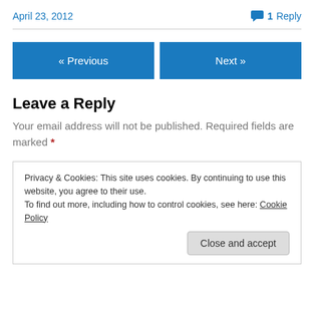April 23, 2012
1 Reply
« Previous
Next »
Leave a Reply
Your email address will not be published. Required fields are marked *
Privacy & Cookies: This site uses cookies. By continuing to use this website, you agree to their use.
To find out more, including how to control cookies, see here: Cookie Policy
Close and accept